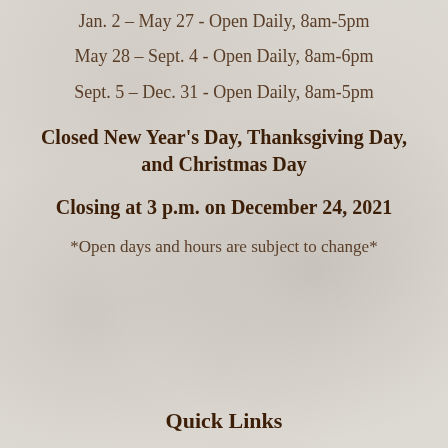Jan. 2 – May 27 - Open Daily, 8am-5pm
May 28 – Sept. 4 - Open Daily, 8am-6pm
Sept. 5 – Dec. 31 - Open Daily, 8am-5pm
Closed New Year's Day, Thanksgiving Day, and Christmas Day
Closing at 3 p.m. on December 24, 2021
*Open days and hours are subject to change*
Quick Links